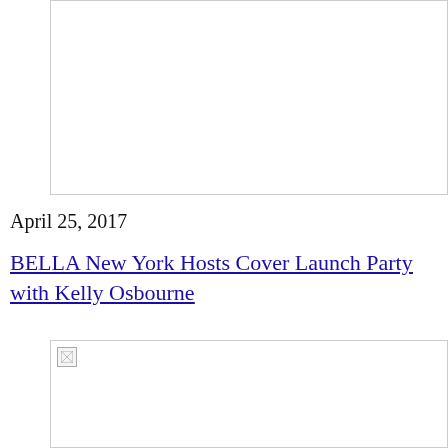[Figure (photo): Top image placeholder box, white with gray border]
April 25, 2017
BELLA New York Hosts Cover Launch Party with Kelly Osbourne
[Figure (photo): Bottom image placeholder box with broken image icon, white with gray border]